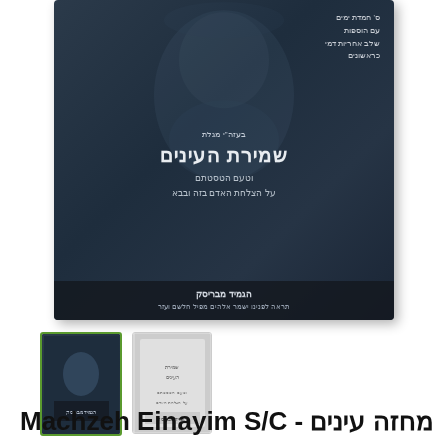[Figure (photo): Product image of a Hebrew book cover (Machzeh Einayim S/C) showing a dark blue cover with a faint portrait of a bearded man and Hebrew text, displayed as main image with two thumbnail previews below]
Machzeh Einayim S/C - מחזה עינים